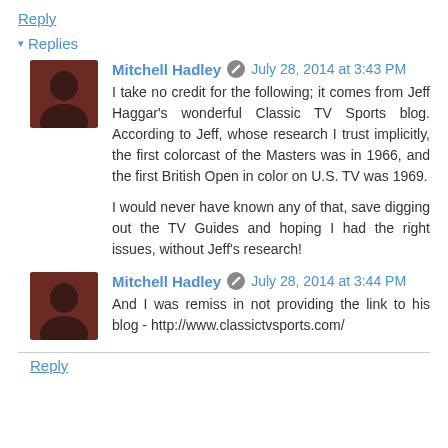Reply
▾ Replies
Mitchell Hadley  July 28, 2014 at 3:43 PM
I take no credit for the following; it comes from Jeff Haggar's wonderful Classic TV Sports blog. According to Jeff, whose research I trust implicitly, the first colorcast of the Masters was in 1966, and the first British Open in color on U.S. TV was 1969.

I would never have known any of that, save digging out the TV Guides and hoping I had the right issues, without Jeff's research!
Mitchell Hadley  July 28, 2014 at 3:44 PM
And I was remiss in not providing the link to his blog - http://www.classictvsports.com/